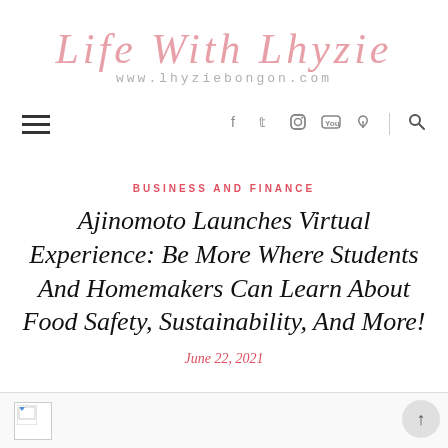Life With Lhyzie
www.lhyziebongon.com
[Figure (other): Navigation bar with hamburger menu icon on the left and social media icons (Facebook, Twitter, Instagram, YouTube, Pinterest) and search icon on the right]
BUSINESS AND FINANCE
Ajinomoto Launches Virtual Experience: Be More Where Students And Homemakers Can Learn About Food Safety, Sustainability, And More!
June 22, 2021
[Figure (photo): Broken/loading image placeholder at the bottom of the page]